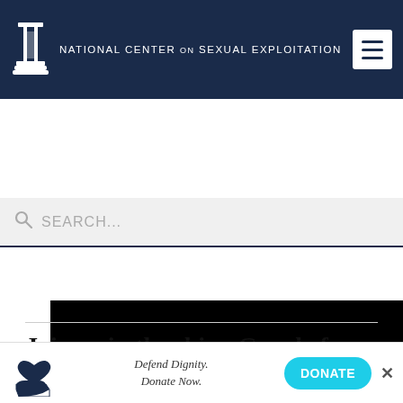NATIONAL CENTER ON SEXUAL EXPLOITATION
[Figure (screenshot): Navigation bar with organization logo (column/pillar icon), organization name, and hamburger menu button on dark navy background]
SEARCH...
[Figure (screenshot): Embedded Vimeo video player area showing black background with 'vimeo' text watermark in dark blue]
Join us in thanking Google for making these important improvements that bring us one step closer to a world
[Figure (infographic): Bottom donate bar with heart-in-hand icon, 'Defend Dignity. Donate Now.' text, DONATE button, and close X button]